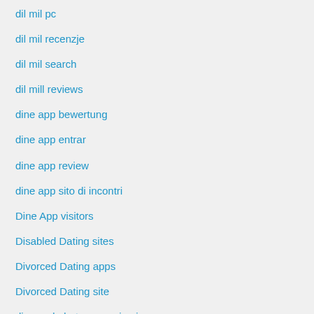dil mil pc
dil mil recenzje
dil mil search
dil mill reviews
dine app bewertung
dine app entrar
dine app review
dine app sito di incontri
Dine App visitors
Disabled Dating sites
Divorced Dating apps
Divorced Dating site
divorced-chat-rooms sign in
Dll Files
dll-file